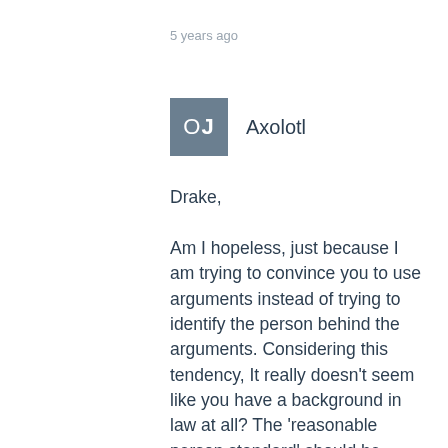5 years ago
Axolotl
Drake,

Am I hopeless, just because I am trying to convince you to use arguments instead of trying to identify the person behind the arguments. Considering this tendency, It really doesn't seem like you have a background in law at all? The 'reasonable person standard' should be applied carefully in areas such as tort and criminal law, but when it comes to politically sensitive issues we should aim at addressing the real problems, the content of the research.